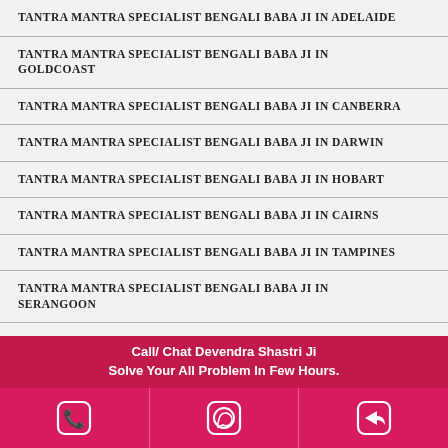TANTRA MANTRA SPECIALIST BENGALI BABA JI IN ADELAIDE
TANTRA MANTRA SPECIALIST BENGALI BABA JI IN GOLDCOAST
TANTRA MANTRA SPECIALIST BENGALI BABA JI IN CANBERRA
TANTRA MANTRA SPECIALIST BENGALI BABA JI IN DARWIN
TANTRA MANTRA SPECIALIST BENGALI BABA JI IN HOBART
TANTRA MANTRA SPECIALIST BENGALI BABA JI IN CAIRNS
TANTRA MANTRA SPECIALIST BENGALI BABA JI IN TAMPINES
TANTRA MANTRA SPECIALIST BENGALI BABA JI IN SERANGOON
Call/ Chat Devendra Shastri Ji Solve Your All Problem In Few Hours.